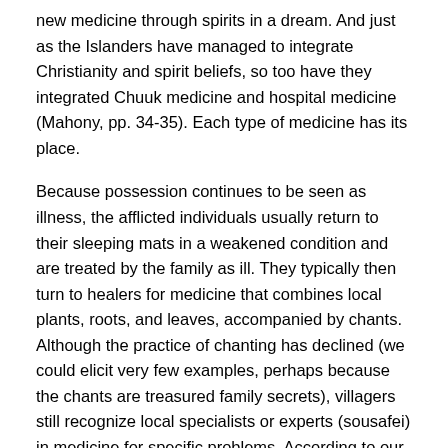new medicine through spirits in a dream. And just as the Islanders have managed to integrate Christianity and spirit beliefs, so too have they integrated Chuuk medicine and hospital medicine (Mahony, pp. 34-35). Each type of medicine has its place.
Because possession continues to be seen as illness, the afflicted individuals usually return to their sleeping mats in a weakened condition and are treated by the family as ill. They typically then turn to healers for medicine that combines local plants, roots, and leaves, accompanied by chants. Although the practice of chanting has declined (we could elicit very few examples, perhaps because the chants are treasured family secrets), villagers still recognize local specialists or experts (sousafei) in medicine for specific problems. According to our reports and interviews, however, the family and onlookers more commonly seek treatment by turning to Christianity, praying over the afflicted family member or sprinkling holy water on her. If the episode continues for more than a day or two, someone usually summons a Catholic priest to assist the afflicted person, even if the family is Protestant. Part of the attraction of Catholic services no doubt lies in the ritual, often conducted with litanies, candles, religious medals or relics, and